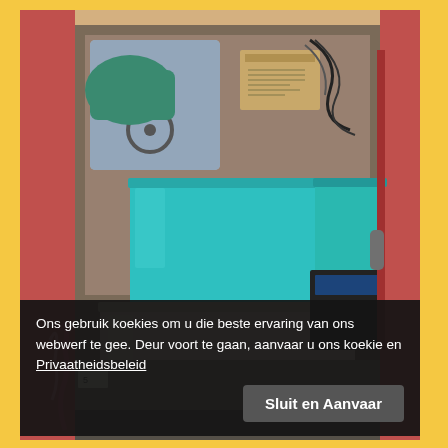[Figure (photo): Photograph of the open rear of a van packed with items including plastic storage containers (a large teal/cyan box on top of a beige/cream box), various electronic cables, a green bag or item, cardboard boxes, and other miscellaneous goods. The van exterior appears red/pink.]
Ons gebruik koekies om u die beste ervaring van ons webwerf te gee. Deur voort te gaan, aanvaar u ons koekie en Privaatheidsbeleid
Sluit en Aanvaar